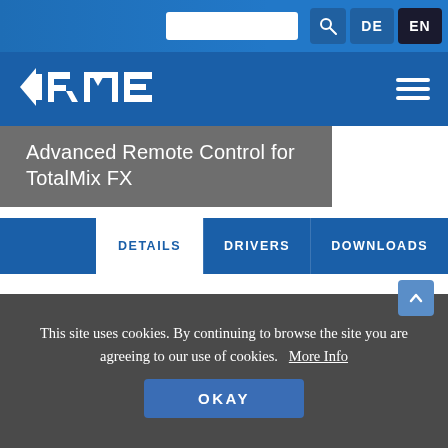DE  EN
[Figure (logo): RME logo in white on blue navigation bar]
Advanced Remote Control for TotalMix FX
DETAILS  DRIVERS  DOWNLOADS
[Figure (photo): Partial view of RME Advanced Remote Control hardware device, gray with yellow buttons and black faders]
This site uses cookies. By continuing to browse the site you are agreeing to our use of cookies.  More Info
OKAY